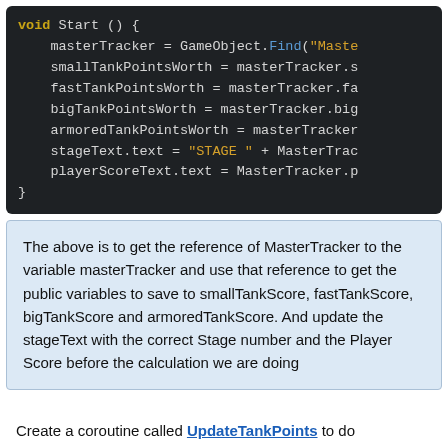[Figure (screenshot): Code block showing Unity C# void Start() method with dark background. Contains variable assignments: masterTracker = GameObject.Find("Maste..."), smallTankPointsWorth = masterTracker.s..., fastTankPointsWorth = masterTracker.fa..., bigTankPointsWorth = masterTracker.big..., armoredTankPointsWorth = masterTracker..., stageText.text = "STAGE " + MasterTrac..., playerScoreText.text = MasterTracker.p...]
The above is to get the reference of MasterTracker to the variable masterTracker and use that reference to get the public variables to save to smallTankScore, fastTankScore, bigTankScore and armoredTankScore. And update the stageText with the correct Stage number and the Player Score before the calculation we are doing
Create a coroutine called UpdateTankPoints to do